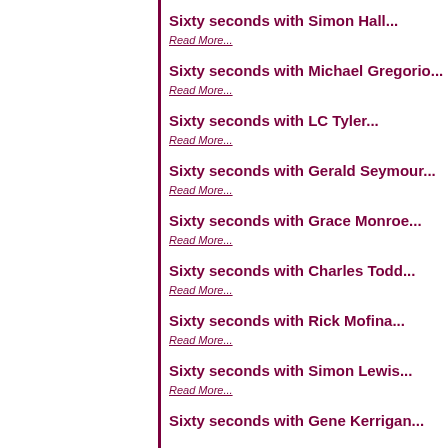Sixty seconds with Simon Hall...
Read More...
Sixty seconds with Michael Gregorio...
Read More...
Sixty seconds with LC Tyler...
Read More...
Sixty seconds with Gerald Seymour...
Read More...
Sixty seconds with Grace Monroe...
Read More...
Sixty seconds with Charles Todd...
Read More...
Sixty seconds with Rick Mofina...
Read More...
Sixty seconds with Simon Lewis...
Read More...
Sixty seconds with Gene Kerrigan...